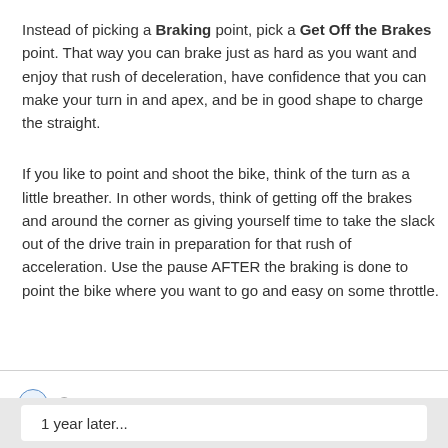Instead of picking a Braking point, pick a Get Off the Brakes point. That way you can brake just as hard as you want and enjoy that rush of deceleration, have confidence that you can make your turn in and apex, and be in good shape to charge the straight.
If you like to point and shoot the bike, think of the turn as a little breather. In other words, think of getting off the brakes and around the corner as giving yourself time to take the slack out of the drive train in preparation for that rush of acceleration. Use the pause AFTER the braking is done to point the bike where you want to go and easy on some throttle.
+ Quote
1 year later...